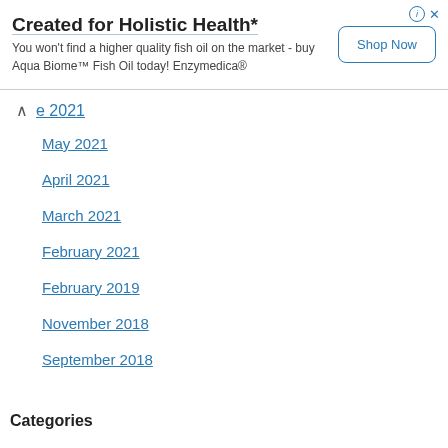[Figure (other): Advertisement banner for Aqua Biome Fish Oil by Enzymedica with 'Shop Now' button and close/info icons]
e 2021
May 2021
April 2021
March 2021
February 2021
February 2019
November 2018
September 2018
Categories